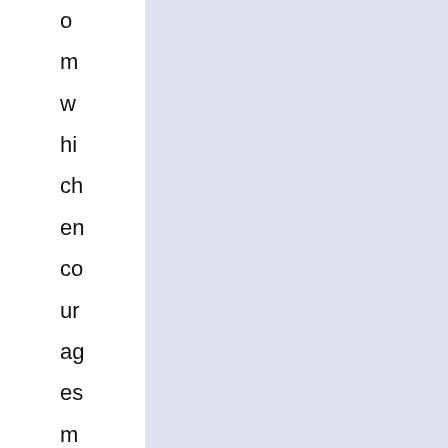o
m
w
hi
ch
en
co
ur
ag
es
m
e
an
d
ot
he
rs
to
re
m
e
m
be
r
th